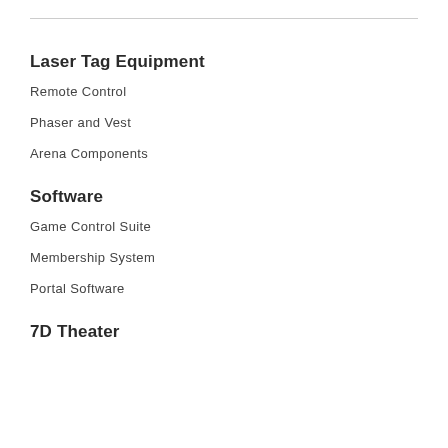Laser Tag Equipment
Remote Control
Phaser and Vest
Arena Components
Software
Game Control Suite
Membership System
Portal Software
7D Theater